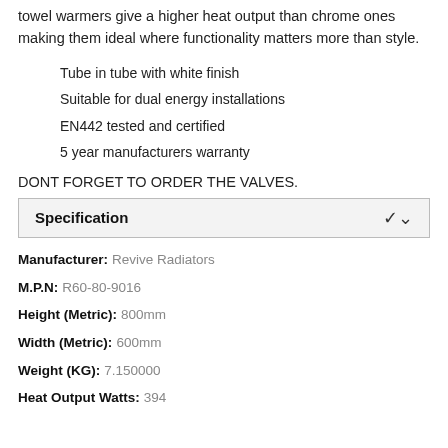towel warmers give a higher heat output than chrome ones making them ideal where functionality matters more than style.
Tube in tube with white finish
Suitable for dual energy installations
EN442 tested and certified
5 year manufacturers warranty
DONT FORGET TO ORDER THE VALVES.
Specification
Manufacturer: Revive Radiators
M.P.N: R60-80-9016
Height (Metric): 800mm
Width (Metric): 600mm
Weight (KG): 7.150000
Heat Output Watts: 394